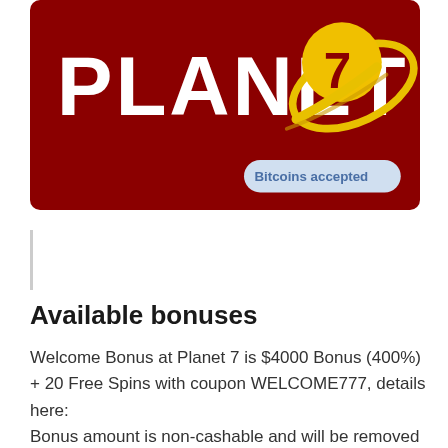[Figure (logo): Planet 7 Casino logo — dark red/maroon background with white bold text 'PLANET' and a yellow comet/planet graphic with the number 7. Badge reading 'Bitcoins accepted' in lower right corner.]
Available bonuses
Welcome Bonus at Planet 7 is $4000 Bonus (400%) + 20 Free Spins with coupon WELCOME777, details here:
Bonus amount is non-cashable and will be removed from the amount of your withdrawal request. You must play all spins before switching games. Free spins have 5x additional wagering requirements and